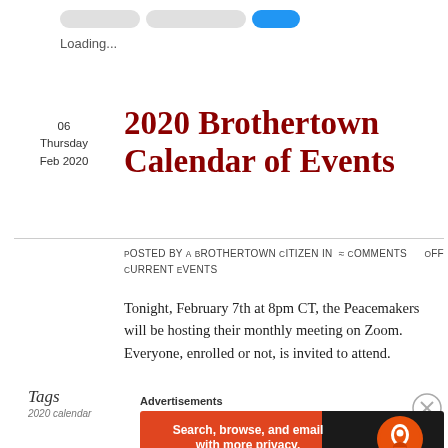Loading...
2020 Brothertown Calendar of Events
06
Thursday
Feb 2020
Posted by A Brothertown Citizen in  ≈ Comments Off  Current Events
Tonight, February 7th at 8pm CT, the Peacemakers will be hosting their monthly meeting on Zoom. Everyone, enrolled or not, is invited to attend.
Tags
2020 calendar
Advertisements
[Figure (screenshot): DuckDuckGo advertisement banner: orange background on left with text 'Search, browse, and email with more privacy. All in One Free App' and DuckDuckGo logo on dark right side.]